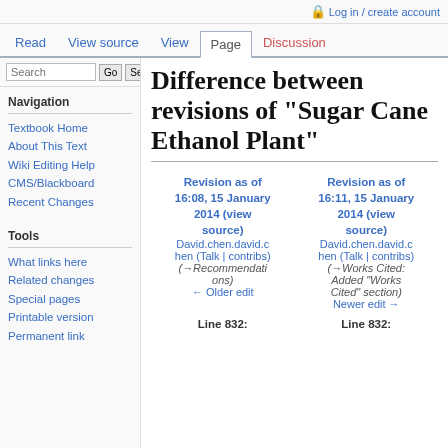🔒 Log in / create account
Read | View source | View | Page | Discussion
Difference between revisions of "Sugar Cane Ethanol Plant"
| Revision as of 16:08, 15 January 2014 (view source) | Revision as of 16:11, 15 January 2014 (view source) |
| --- | --- |
| David.chen.david.chen (Talk | contribs) | David.chen.david.chen (Talk | contribs) |
| (→Recommendations) | (→Works Cited: Added "Works Cited" section) |
| ← Older edit | Newer edit → |
| Line 832: | Line 832: |
Textbook Home
About This Text
Wiki Editing Help
CMS/Blackboard
Recent Changes
What links here
Related changes
Special pages
Printable version
Permanent link